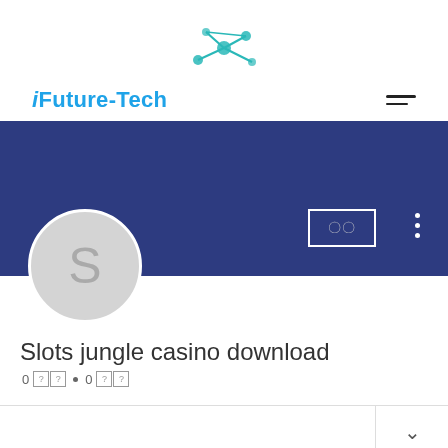[Figure (logo): iFuture-Tech network/node logo in teal color at top center]
iFuture-Tech
[Figure (screenshot): Dark blue banner with white rectangle button containing question mark glyphs, three white dots icon, and profile circle with letter S]
Slots jungle casino download
0 [??] • 0 [??]
[Figure (other): Horizontal divider row with chevron/arrow down icon on right side]
[Figure (other): Four question mark icon boxes at bottom left]